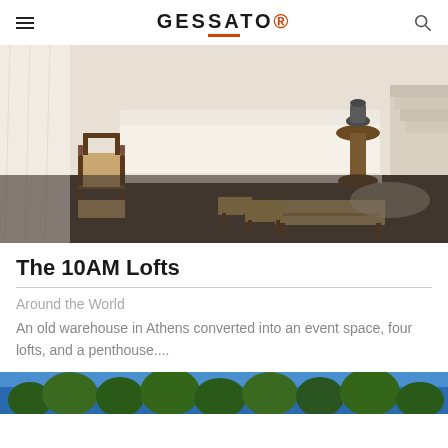GESSATO
[Figure (photo): Interior of a minimalist space with a white linen sofa, wooden chair with rush seat, woven stools and bench, decorative round table with ceramic vase, and concrete flooring]
The 10AM Lofts
Around the World
An old warehouse in Athens converted into an event space, four lofts, and a penthouse....
[Figure (photo): Outdoor scene with blue sky and trees, partially visible at bottom of page]